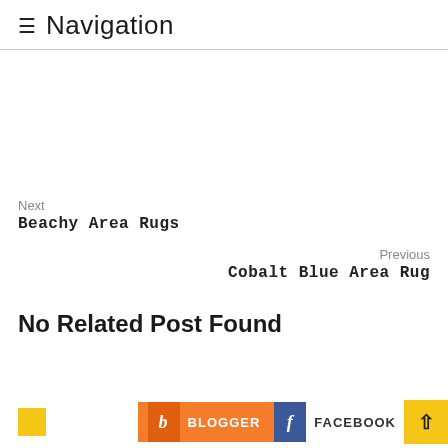≡ Navigation
Next
Beachy Area Rugs
Previous
Cobalt Blue Area Rug
No Related Post Found
BLOGGER  FACEBOOK